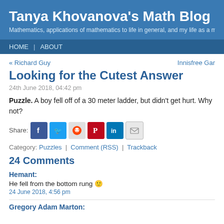Tanya Khovanova's Math Blog
Mathematics, applications of mathematics to life in general, and my life as a mathem
HOME | ABOUT
« Richard Guy
Innisfree Gar
Looking for the Cutest Answer
24th June 2018, 04:42 pm
Puzzle. A boy fell off of a 30 meter ladder, but didn't get hurt. Why not?
Share:
Category: Puzzles | Comment (RSS) | Trackback
24 Comments
Hemant:
He fell from the bottom rung 🙂
24 June 2018, 4:56 pm
Gregory Adam Marton: